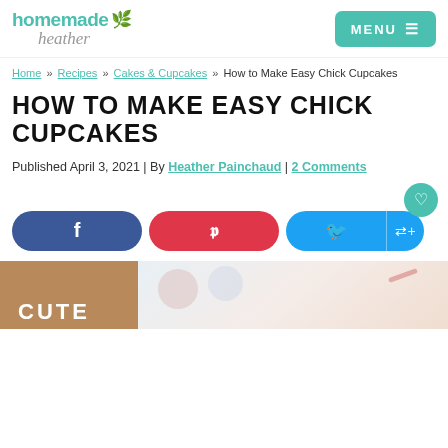homemade heather | MENU
Home » Recipes » Cakes & Cupcakes » How to Make Easy Chick Cupcakes
HOW TO MAKE EASY CHICK CUPCAKES
Published April 3, 2021 | By Heather Painchaud | 2 Comments
[Figure (screenshot): Social share buttons: Facebook, Pinterest, Twitter/share; heart save button]
[Figure (photo): Partial photo of chick cupcakes with text 'CUTE' visible on left brown circle background]